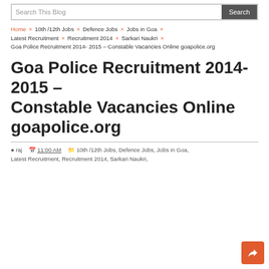Search This Blog | Search
Home × 10th /12th Jobs × Defence Jobs × Jobs in Goa × Latest Recruitment × Recruitment 2014 × Sarkari Naukri × Goa Police Recruitment 2014- 2015 – Constable Vacancies Online goapolice.org
Goa Police Recruitment 2014- 2015 – Constable Vacancies Online goapolice.org
raj  11:00 AM  10th /12th Jobs, Defence Jobs, Jobs in Goa, Latest Recruitment, Recruitment 2014, Sarkari Naukri,